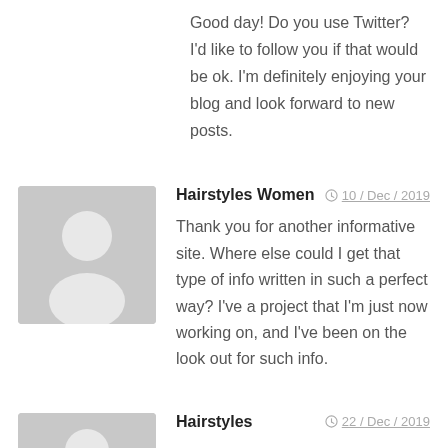Good day! Do you use Twitter? I'd like to follow you if that would be ok. I'm definitely enjoying your blog and look forward to new posts.
Hairstyles Women — 10 / Dec / 2019
Thank you for another informative site. Where else could I get that type of info written in such a perfect way? I've a project that I'm just now working on, and I've been on the look out for such info.
Hairstyles — 22 / Dec / 2019